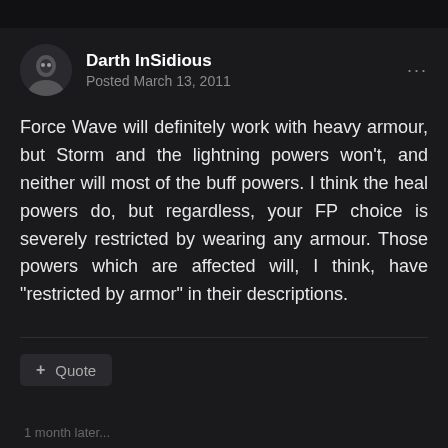Darth InSidious
Posted March 13, 2011
Force Wave will definitely work with heavy armour, but Storm and the lightning powers won't, and neither will most of the buff powers. I think the heal powers do, but regardless, your FP choice is severely restricted by wearing any armour. Those powers which are affected will, I think, have "restricted by armor" in their descriptions.
+ Quote
1 month later...